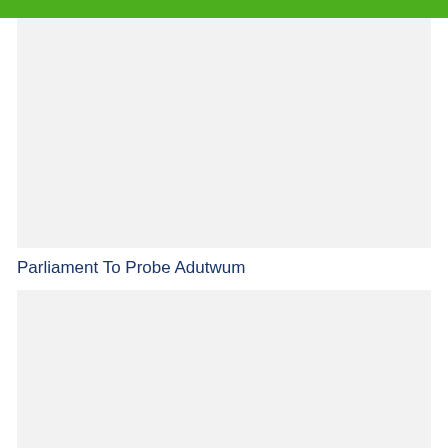[Figure (photo): Top image placeholder with light gray background]
Parliament To Probe Adutwum
[Figure (photo): Bottom image placeholder with light gray background]